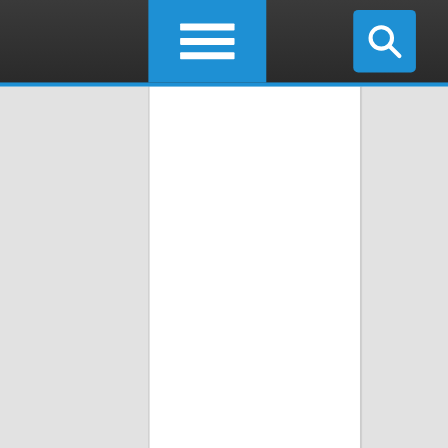[Figure (screenshot): Mobile web browser screenshot showing a dark navigation bar with a blue hamburger menu button on the left and a blue search button on the right. Below is a white content area with gray side panels. At the bottom is an advertisement for Enzymedica Intelligent Omega Blend supplement showing a hand holding a supplement bottle, with a 'Shop Now' button.]
Intelligent Omega Blend
Shop Now
Enzymedica®